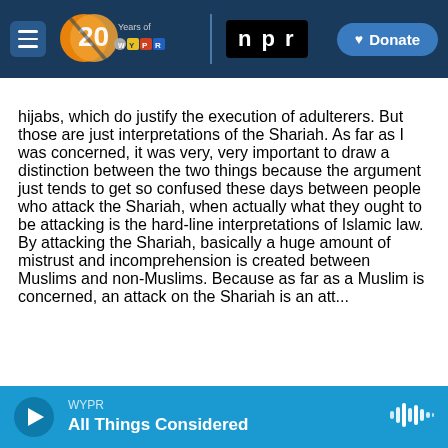[Figure (screenshot): WYPR 20 Years of WYPR NPR logo navigation bar with hamburger menu and Donate button on dark blue background]
hijabs, which do justify the execution of adulterers. But those are just interpretations of the Shariah. As far as I was concerned, it was very, very important to draw a distinction between the two things because the argument just tends to get so confused these days between people who attack the Shariah, when actually what they ought to be attacking is the hard-line interpretations of Islamic law. By attacking the Shariah, basically a huge amount of mistrust and incomprehension is created between Muslims and non-Muslims. Because as far as a Muslim is concerned, an attack on the Shariah is an attack on God.
WYPR
All Things Considered